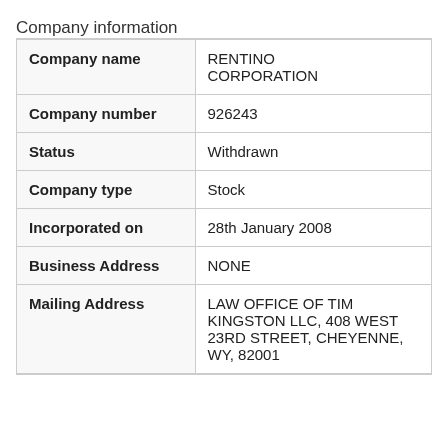Company information
|  |  |
| --- | --- |
| Company name | RENTINO CORPORATION |
| Company number | 926243 |
| Status | Withdrawn |
| Company type | Stock |
| Incorporated on | 28th January 2008 |
| Business Address | NONE |
| Mailing Address | LAW OFFICE OF TIM KINGSTON LLC, 408 WEST 23RD STREET, CHEYENNE, WY, 82001 |